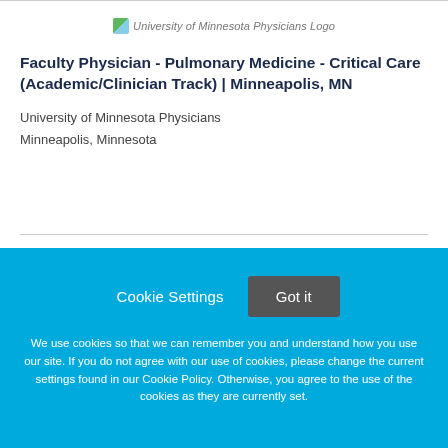[Figure (logo): University of Minnesota Physicians Logo]
Faculty Physician - Pulmonary Medicine - Critical Care (Academic/Clinician Track) | Minneapolis, MN
University of Minnesota Physicians
Minneapolis, Minnesota
Cookie Settings  Got it
We use cookies so that we can remember you and understand how you use our site. If you do not agree with our use of cookies, please change the current settings found in our Cookie Policy. Otherwise, you agree to the use of the cookies as they are currently set.